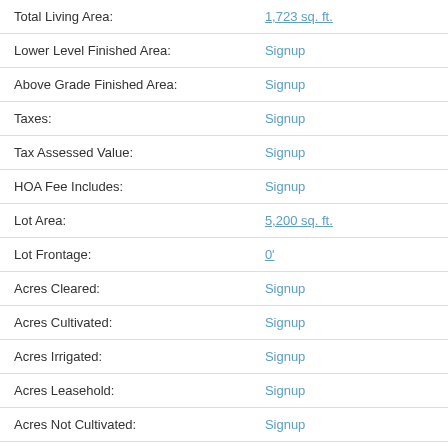| Field | Value |
| --- | --- |
| Total Living Area: | 1,723 sq. ft. |
| Lower Level Finished Area: | Signup |
| Above Grade Finished Area: | Signup |
| Taxes: | Signup |
| Tax Assessed Value: | Signup |
| HOA Fee Includes: | Signup |
| Lot Area: | 5,200 sq. ft. |
| Lot Frontage: | 0' |
| Acres Cleared: | Signup |
| Acres Cultivated: | Signup |
| Acres Irrigated: | Signup |
| Acres Leasehold: | Signup |
| Acres Not Cultivated: | Signup |
| Acres Freehold: | Signup |
| Acres Seeded: | Signup |